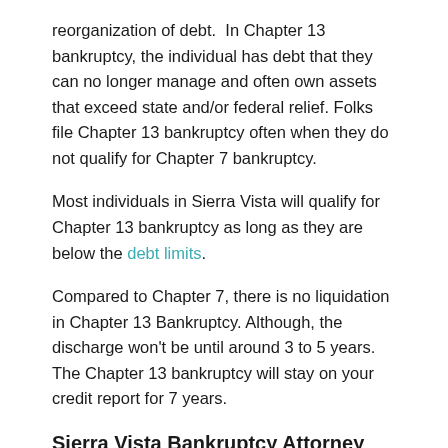reorganization of debt.  In Chapter 13 bankruptcy, the individual has debt that they can no longer manage and often own assets that exceed state and/or federal relief. Folks file Chapter 13 bankruptcy often when they do not qualify for Chapter 7 bankruptcy.
Most individuals in Sierra Vista will qualify for Chapter 13 bankruptcy as long as they are below the debt limits.
Compared to Chapter 7, there is no liquidation in Chapter 13 Bankruptcy. Although, the discharge won't be until around 3 to 5 years. The Chapter 13 bankruptcy will stay on your credit report for 7 years.
Sierra Vista Bankruptcy Attorney Fees